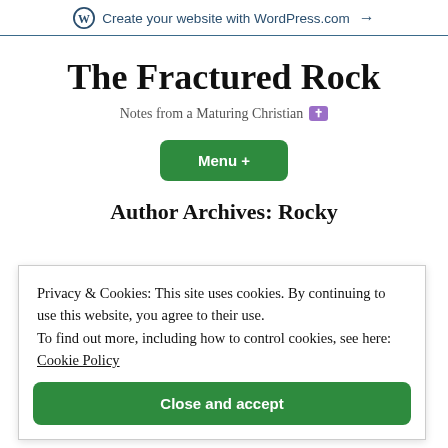Create your website with WordPress.com →
The Fractured Rock
Notes from a Maturing Christian ✝
Menu +
Author Archives: Rocky
Privacy & Cookies: This site uses cookies. By continuing to use this website, you agree to their use. To find out more, including how to control cookies, see here: Cookie Policy
Close and accept
idle. They are not busy but busybodies. Now we